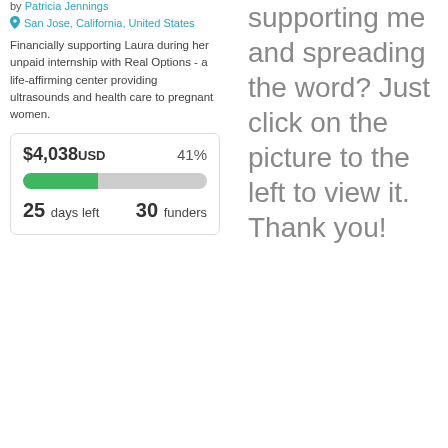by Patricia Jennings
San Jose, California, United States
Financially supporting Laura during her unpaid internship with Real Options - a life-affirming center providing ultrasounds and health care to pregnant women.
$4,038USD  41%  25 days left  30 funders
supporting me and spreading the word? Just click on the picture to the left to view it. Thank you!